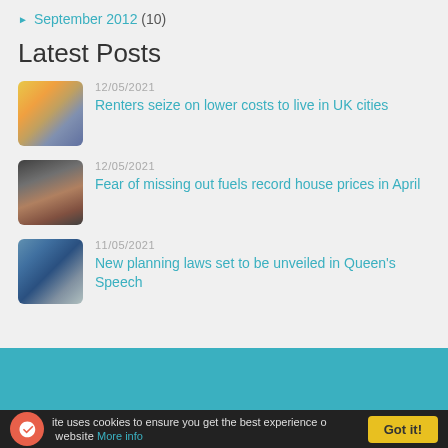September 2012 (10)
Latest Posts
12/05/2021 Renters seize on lower costs to live in UK cities
12/05/2021 Fear of missing out fuels record house prices in April
11/05/2021 New planning laws set to be unveiled in Queen's Speech
This site uses cookies to ensure you get the best experience on our website More info
Got it!